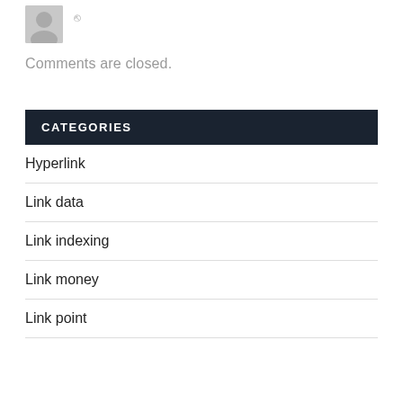[Figure (illustration): Default grey avatar/profile icon placeholder image]
Comments are closed.
CATEGORIES
Hyperlink
Link data
Link indexing
Link money
Link point